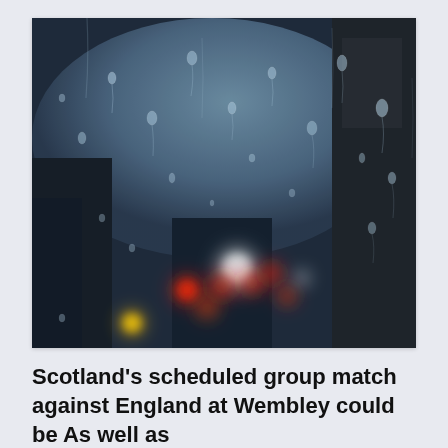[Figure (photo): A rainy urban night scene viewed through a rain-covered window glass. Blurry city lights including red, orange, and white bokeh circles are visible in the background against a dark sky.]
Scotland's scheduled group match against England at Wembley could be As well as